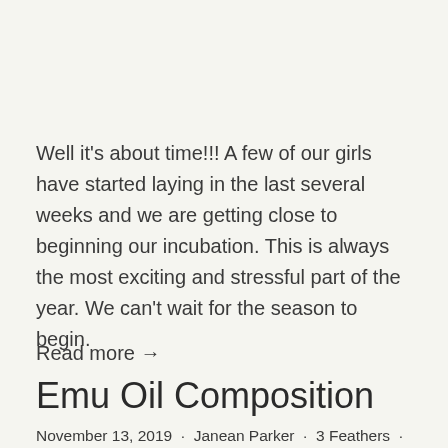Well it's about time!!! A few of our girls have started laying in the last several weeks and we are getting close to beginning our incubation. This is always the most exciting and stressful part of the year. We can't wait for the season to begin.
Read more →
Emu Oil Composition
November 13, 2019  ·  Janean Parker  ·  3 Feathers  ·  AEA  ·  emu news  ·  emu oil  ·  emu oil products  ·